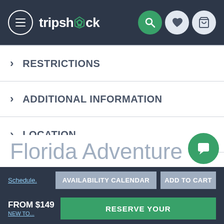tripshock navigation bar with hamburger menu, logo, search, wishlist, and cart icons
> RESTRICTIONS
> ADDITIONAL INFORMATION
> LOCATION
Florida Adventure To...
Schedule.
AVAILABILITY CALENDAR   ADD TO CART
FROM $149
RESERVE YOUR